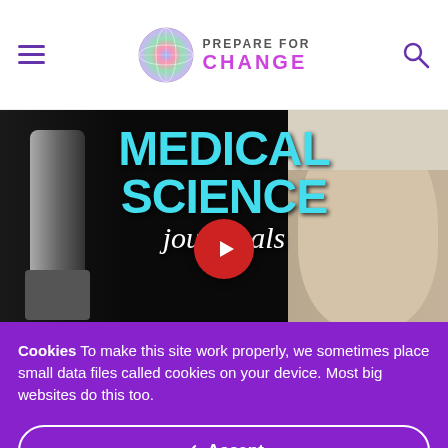PREPARE FOR CHANGE
[Figure (screenshot): Video thumbnail showing text 'MEDICAL SCIENCE journals' in large teal bold letters on black background, with a woman's face on the right side and a red play button in the center. Medical equipment visible on the left.]
Cookies To make this site work properly, we sometimes place small data files called cookies on your device. Most big websites do this too.
✓ Accept
Change Settings ⚙